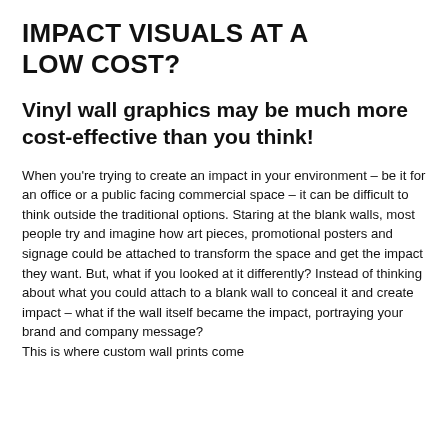IMPACT VISUALS AT A LOW COST?
Vinyl wall graphics may be much more cost-effective than you think!
When you're trying to create an impact in your environment – be it for an office or a public facing commercial space – it can be difficult to think outside the traditional options. Staring at the blank walls, most people try and imagine how art pieces, promotional posters and signage could be attached to transform the space and get the impact they want. But, what if you looked at it differently? Instead of thinking about what you could attach to a blank wall to conceal it and create impact – what if the wall itself became the impact, portraying your brand and company message?
This is where custom wall prints come